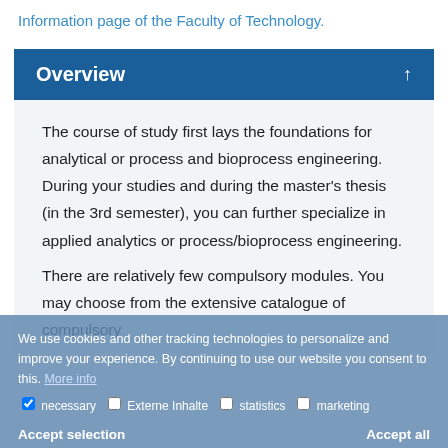Information page of the Faculty of Technology.
Overview
The course of study first lays the foundations for analytical or process and bioprocess engineering. During your studies and during the master's thesis (in the 3rd semester), you can further specialize in applied analytics or process/bioprocess engineering.
There are relatively few compulsory modules. You may choose from the extensive catalogue of compulsory
We use cookies and other tracking technologies to personalize and improve your experience. By continuing to use our website you consent to this. More info
necessary  Externe Inhalte  statistics  marketing
Accept selection                                Accept all